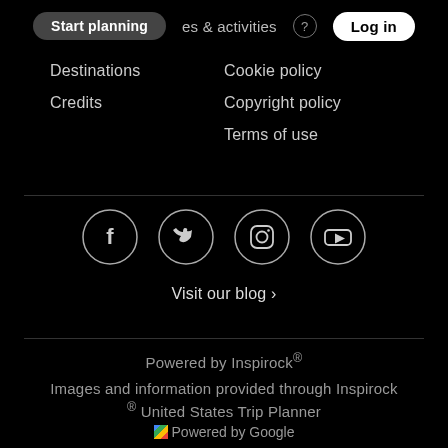[Figure (screenshot): Top navigation bar with 'Start planning' button overlay, 'es & activities' text, question mark icon, and 'Log in' button on black background]
Destinations
Credits
Cookie policy
Copyright policy
Terms of use
[Figure (infographic): Row of four circular social media icons: Facebook (f), Twitter (bird), Instagram (camera), YouTube (play button) on black background]
Visit our blog ›
Powered by Inspirock®
Images and information provided through Inspirock ® United States Trip Planner
Powered by Google